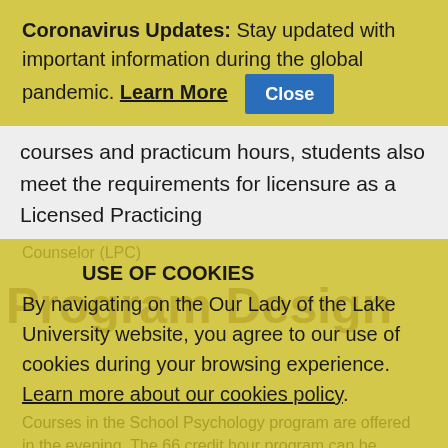Coronavirus Updates: Stay updated with important information during the global pandemic. Learn More [Close button]
courses and practicum hours, students also meet the requirements for licensure as a Licensed Practicing Counselor (LPC)
USE OF COOKIES
By navigating on the Our Lady of the Lake University website, you agree to our use of cookies during your browsing experience. Learn more about our cookies policy.
Courses in the School Psychology program are offered in the evening. The 66 credit hour program can be completed in three years for a student attending classes full time during the fall, spring and
Accept